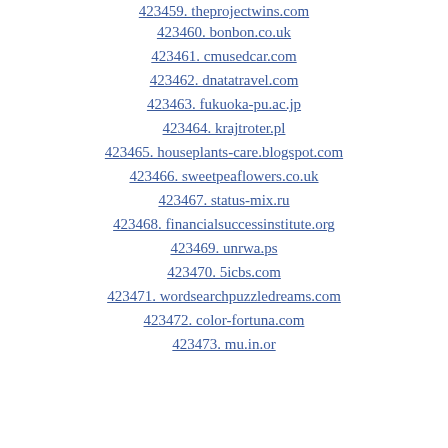423459. theprojectwins.com
423460. bonbon.co.uk
423461. cmusedcar.com
423462. dnatatravel.com
423463. fukuoka-pu.ac.jp
423464. krajtroter.pl
423465. houseplants-care.blogspot.com
423466. sweetpeaflowers.co.uk
423467. status-mix.ru
423468. financialsuccessinstitute.org
423469. unrwa.ps
423470. 5icbs.com
423471. wordsearchpuzzledreams.com
423472. color-fortuna.com
423473. mu.in.or